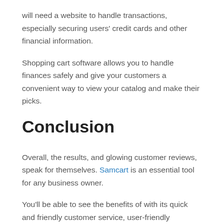will need a website to handle transactions, especially securing users' credit cards and other financial information.
Shopping cart software allows you to handle finances safely and give your customers a convenient way to view your catalog and make their picks.
Conclusion
Overall, the results, and glowing customer reviews, speak for themselves. Samcart is an essential tool for any business owner.
You'll be able to see the benefits of with its quick and friendly customer service, user-friendly interface, updates and reports, and intuitive user experience.
Samcart is the best shopping cart software for you. Sign up. Set